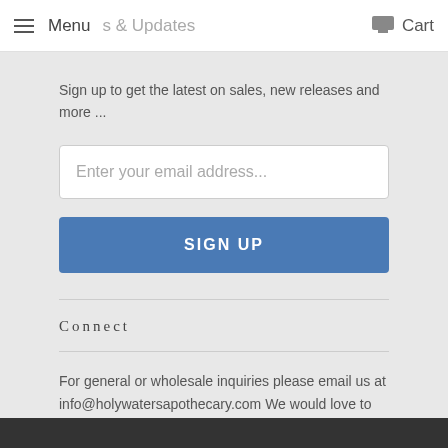Menu  &  Updates  Cart
Sign up to get the latest on sales, new releases and more ...
Enter your email address...
SIGN UP
Connect
For general or wholesale inquiries please email us at info@holywatersapothecary.com We would love to hear from you!
[Figure (illustration): Social media icons: Pinterest, Instagram, Email/envelope]